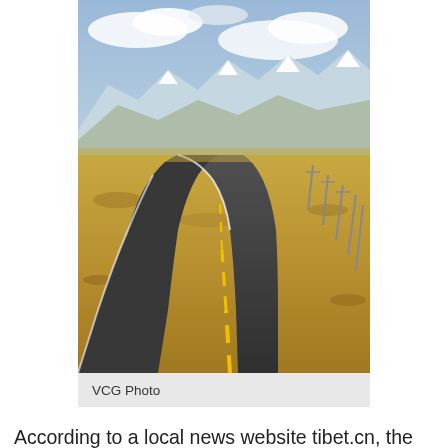[Figure (photo): A winding two-lane road with yellow dashed center lines stretching through a vast golden-brown plateau landscape. Snow-capped mountains are visible in the background under a partly cloudy sky. Utility poles line the right side of the road. The scene appears to be on the Tibetan Plateau.]
VCG Photo
According to a local news website tibet.cn, the system started its trial on August 1. The Tourism Development Department has conducted online training on material submission for employees of more than 90 travel agencies in the region.
To travel to the Tibet Autonomous Region, all